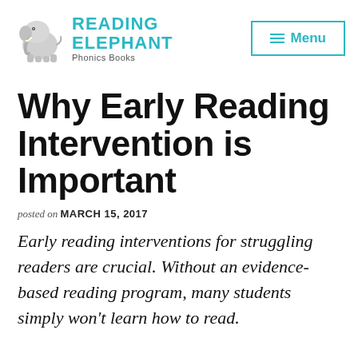READING ELEPHANT Phonics Books
Why Early Reading Intervention is Important
posted on MARCH 15, 2017
Early reading interventions for struggling readers are crucial. Without an evidence-based reading program, many students simply won't learn how to read.